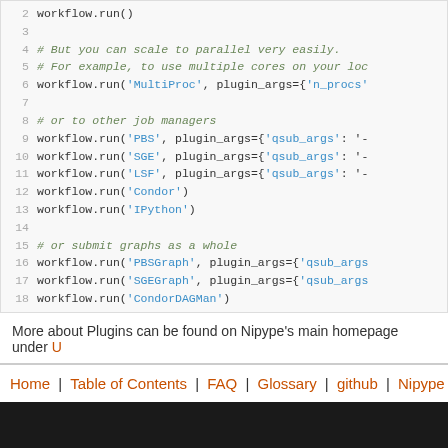[Figure (screenshot): Code block showing Python workflow.run() calls with various plugin backends (MultiProc, PBS, SGE, LSF, Condor, IPython, PBSGraph, SGEGraph, CondorDAGMan), line numbers 2-18]
More about Plugins can be found on Nipype's main homepage under U...
Home | Table of Contents | FAQ | Glossary | github | Nipype | Help |